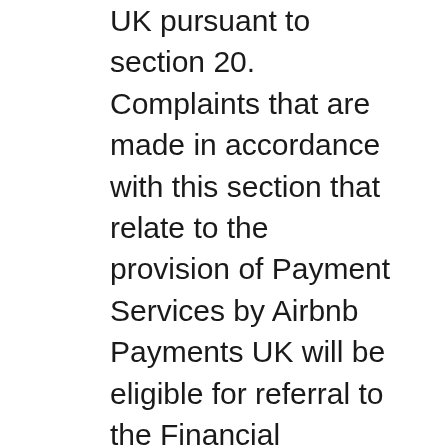UK pursuant to section 20. Complaints that are made in accordance with this section that relate to the provision of Payment Services by Airbnb Payments UK will be eligible for referral to the Financial Ombudsman and will be subject to the Rules of the Financial Ombudsman Service. The UK Financial Ombudsman Service offers a free complaints resolution service to individuals, micro-enterprises, small charities, and trustees of small trusts. You can contact the UK Financial Ombudsman by (i) telephone from inside the UK: 0300 123 9123 or 0800 023 4567; from other countries: +44 20 7964 0500, on Monday to Friday, 8am to 8pm and on Saturday 9am to 1pm; (ii) post: Financial Ombudsman Service, Exchange Tower, London, E14 9SR; or (iii) email: enquiries@financial-ombudsman.org.uk. The UK Financial Ombudsman Service is also